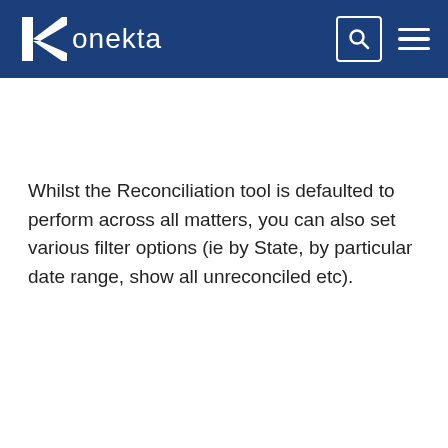Konekta
Whilst the Reconciliation tool is defaulted to perform across all matters, you can also set various filter options (ie by State, by particular date range, show all unreconciled etc).